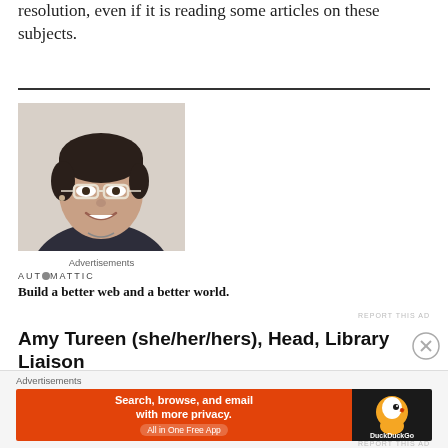resolution, even if it is reading some articles on these subjects.
[Figure (photo): Headshot photo of a person with short dark hair wearing white-rimmed glasses and a dark top, smiling at the camera against a light background.]
Advertisements
AUTOMATTIC
Build a better web and a better world.
REPORT THIS AD
Amy Tureen (she/her/hers), Head, Library Liaison
Advertisements
[Figure (illustration): DuckDuckGo advertisement banner: orange left panel with text 'Search, browse, and email with more privacy. All in One Free App' and dark right panel with DuckDuckGo logo.]
REPORT THIS AD